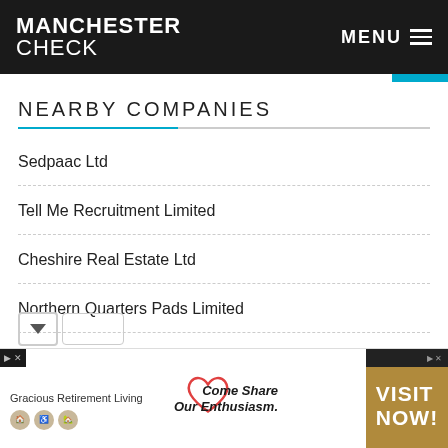MANCHESTER CHECK   MENU
NEARBY COMPANIES
Sedpaac Ltd
Tell Me Recruitment Limited
Cheshire Real Estate Ltd
Northern Quarters Pads Limited
Elite Sales Ltd
[Figure (infographic): Advertisement banner: Gracious Retirement Living — Come Share Our Enthusiasm. VISIT NOW! with heart logo and icons]
Gracious Retirement Living — Come Share Our Enthusiasm. VISIT NOW!